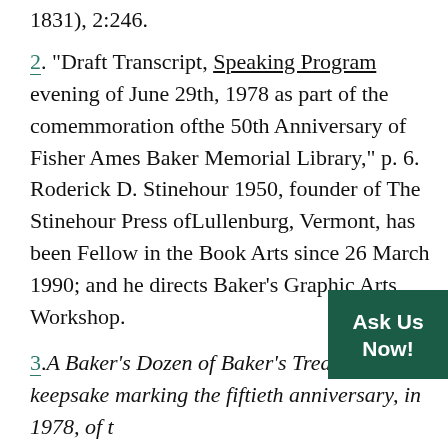1831), 2:246.
2. "Draft Transcript, Speaking Program evening of June 29th, 1978 as part of the comemmoration ofthe 50th Anniversary of Fisher Ames Baker Memorial Library," p. 6. Roderick D. Stinehour 1950, founder of The Stinehour Press ofLullenburg, Vermont, has been Fellow in the Book Arts since 26 March 1990; and he directs Baker's Graphic Arts Workshop.
3. A Baker's Dozen of Baker's Treasures: a keepsake marking the fiftieth anniversary, in 1978, of the Fisher Ames Baker Memorial Library of Dartmouth,([n.p., n.d.] ).
4. Translated as: The whole / holy / his-Bible God / Old Testament / and also / New